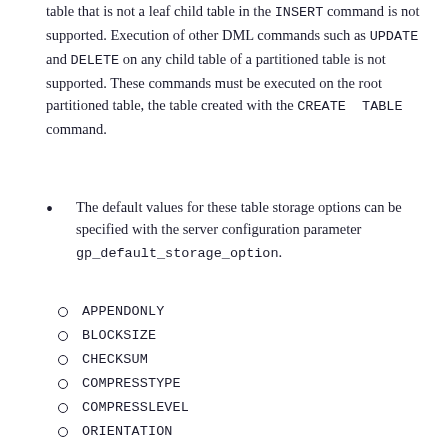table that is not a leaf child table in the INSERT command is not supported. Execution of other DML commands such as UPDATE and DELETE on any child table of a partitioned table is not supported. These commands must be executed on the root partitioned table, the table created with the CREATE TABLE command.
The default values for these table storage options can be specified with the server configuration parameter gp_default_storage_option.
APPENDONLY
BLOCKSIZE
CHECKSUM
COMPRESSTYPE
COMPRESSLEVEL
ORIENTATION
The defaults can be set for the system, a database, or a user. For information about setting storage options,